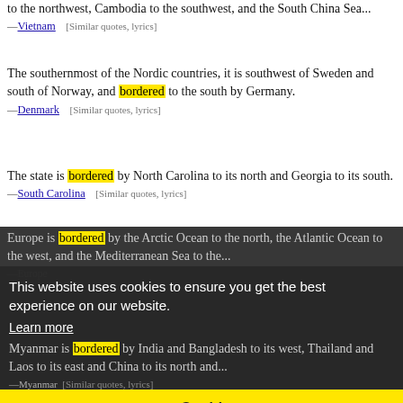to the northwest, Cambodia to the southwest, and the South China Sea...
—Vietnam  [Similar quotes, lyrics]
The southernmost of the Nordic countries, it is southwest of Sweden and south of Norway, and bordered to the south by Germany.
—Denmark  [Similar quotes, lyrics]
The state is bordered by North Carolina to its north and Georgia to its south.
—South Carolina  [Similar quotes, lyrics]
Europe is bordered by the Arctic Ocean to the north, the Atlantic Ocean to the west, and the Mediterranean Sea to the...
This website uses cookies to ensure you get the best experience on our website.
Learn more
Got it!
Myanmar is bordered by India and Bangladesh to its west, Thailand and Laos to its east and China to its north and...
—Myanmar  [Similar quotes, lyrics]
Iowa is a state in the Midwestern United States, bordered by the Mississippi River to the east and...